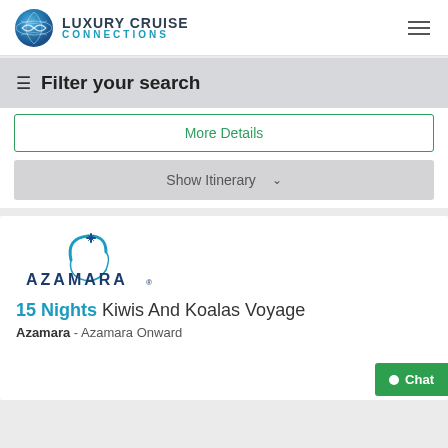LUXURY CRUISE CONNECTIONS
Filter your search
More Details
Show Itinerary
[Figure (logo): Azamara cruise line logo with circular swoosh and star design]
15 Nights Kiwis And Koalas Voyage
Azamara - Azamara Onward